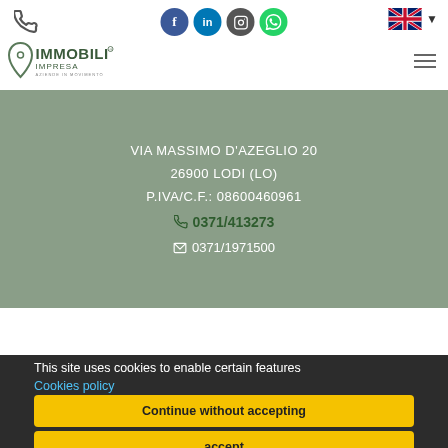Immobili Impresa - Aziende in Movimento — header with logo, social icons, phone icon, language selector, hamburger menu
VIA MASSIMO D'AZEGLIO 20
26900 LODI (LO)
P.IVA/C.F.: 08600460961
0371/413273
0371/1971500
This site uses cookies to enable certain features
Cookies policy
Continue without accepting
accept
Preferences